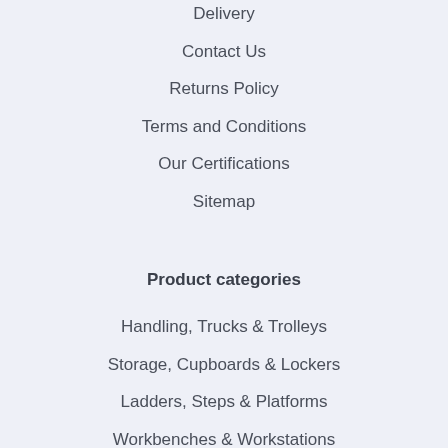Delivery
Contact Us
Returns Policy
Terms and Conditions
Our Certifications
Sitemap
Product categories
Handling, Trucks & Trolleys
Storage, Cupboards & Lockers
Ladders, Steps & Platforms
Workbenches & Workstations
Shelving & Racking
Site & Facilities
Safety & Security